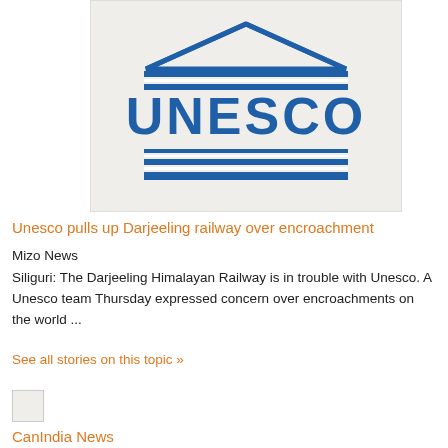[Figure (logo): UNESCO logo — blue temple/columns graphic with the word UNESCO in large blue block letters below]
Unesco pulls up Darjeeling railway over encroachment
Mizo News
Siliguri: The Darjeeling Himalayan Railway is in trouble with Unesco. A Unesco team Thursday expressed concern over encroachments on the world ...
See all stories on this topic »
[Figure (photo): Small thumbnail image placeholder]
CanIndia News